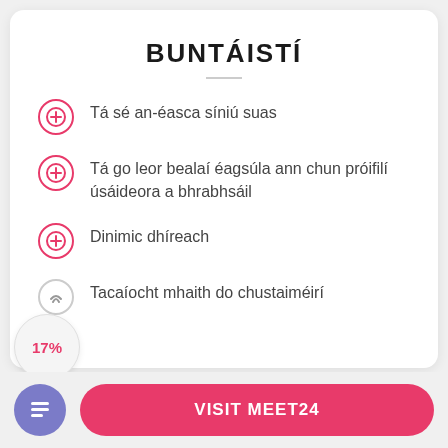BUNTÁISTÍ
Tá sé an-éasca síniú suas
Tá go leor bealaí éagsúla ann chun próifilí úsáideora a bhrabhsáil
Dinimic dhíreach
Tacaíocht mhaith do chustaiméirí
17%
VISIT MEET24